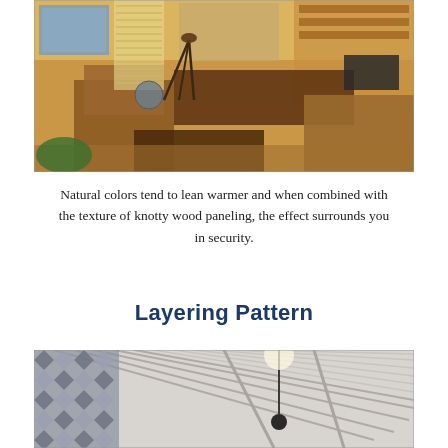[Figure (photo): Interior of a rustic wood-paneled study/office with leather chairs, a large wooden desk, bookshelves, paintings, and warm lighting.]
Natural colors tend to lean warmer and when combined with the texture of knotty wood paneling, the effect surrounds you in security.
Layering Pattern
[Figure (photo): Interior photo looking up at a white shiplap ceiling with angled beams and a geometric patterned wall visible on the left.]